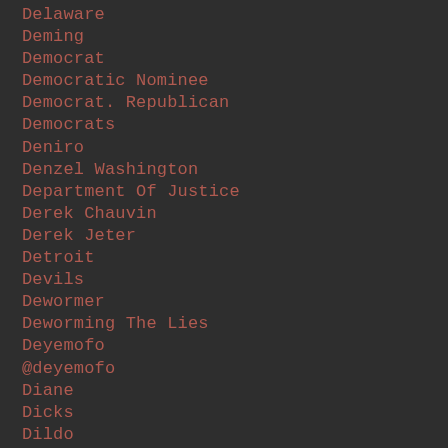Delaware
Deming
Democrat
Democratic Nominee
Democrat. Republican
Democrats
Deniro
Denzel Washington
Department Of Justice
Derek Chauvin
Derek Jeter
Detroit
Devils
Dewormer
Deworming The Lies
Deyemofo
@deyemofo
Diane
Dicks
Dildo